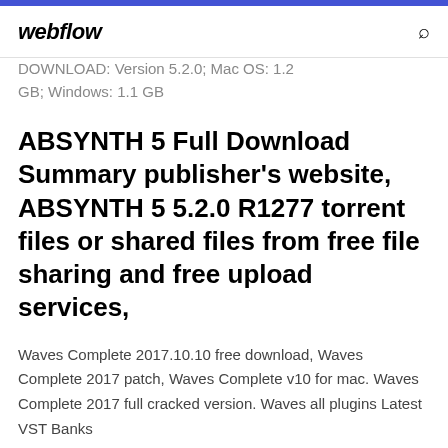webflow
DOWNLOAD: Version 5.2.0; Mac OS: 1.2 GB; Windows: 1.1 GB
ABSYNTH 5 Full Download Summary publisher's website, ABSYNTH 5 5.2.0 R1277 torrent files or shared files from free file sharing and free upload services,
Waves Complete 2017.10.10 free download, Waves Complete 2017 patch, Waves Complete v10 for mac. Waves Complete 2017 full cracked version. Waves all plugins Latest VST Banks